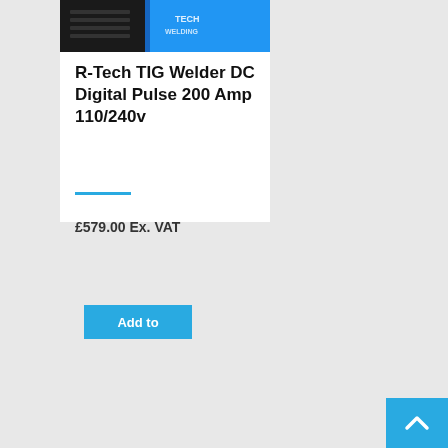[Figure (photo): Product photo of R-Tech TIG Welder DC Digital Pulse 200 Amp 110/240v — dark colored welder unit with blue branding]
R-Tech TIG Welder DC Digital Pulse 200 Amp 110/240v
£579.00 Ex. VAT
Add to